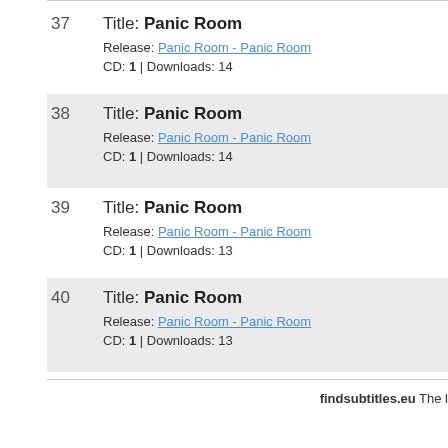37 Title: Panic Room | Release: Panic Room - Panic Room | CD: 1 | Downloads: 14
38 Title: Panic Room | Release: Panic Room - Panic Room | CD: 1 | Downloads: 14
39 Title: Panic Room | Release: Panic Room - Panic Room | CD: 1 | Downloads: 13
40 Title: Panic Room | Release: Panic Room - Panic Room | CD: 1 | Downloads: 13
findsubtitles.eu The l